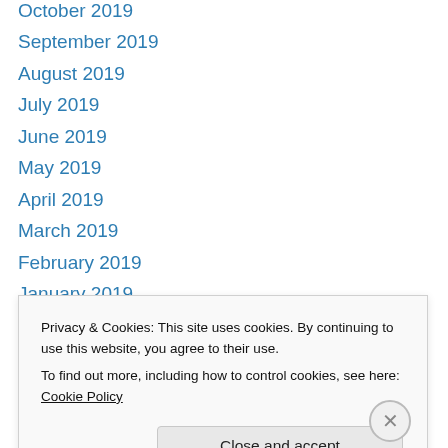October 2019
September 2019
August 2019
July 2019
June 2019
May 2019
April 2019
March 2019
February 2019
January 2019
December 2018
November 2018
October 2018
September 2018
Privacy & Cookies: This site uses cookies. By continuing to use this website, you agree to their use.
To find out more, including how to control cookies, see here: Cookie Policy